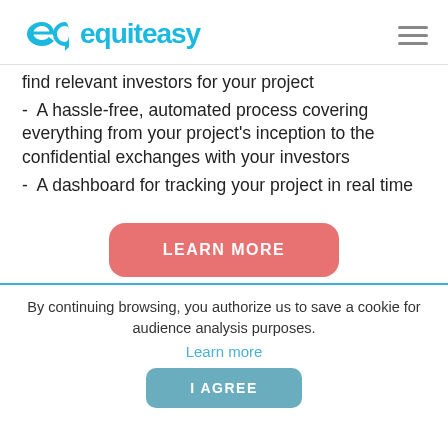equiteasy
find relevant investors for your project
- A hassle-free, automated process covering everything from your project's inception to the confidential exchanges with your investors
- A dashboard for tracking your project in real time
LEARN MORE
By continuing browsing, you authorize us to save a cookie for audience analysis purposes.
Learn more
I AGREE